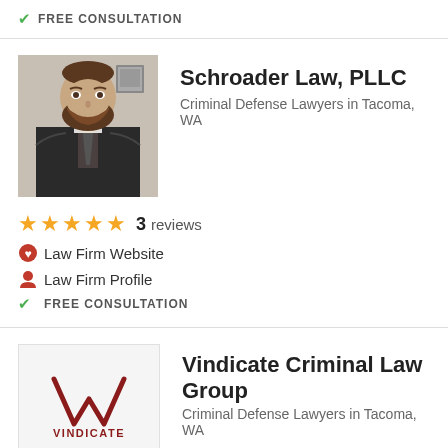✓ FREE CONSULTATION
Schroader Law, PLLC
Criminal Defense Lawyers in Tacoma, WA
[Figure (photo): Photo of a man in a suit and tie with a beard]
★★★★★  3  reviews
❤ Law Firm Website
👤 Law Firm Profile
✓ FREE CONSULTATION
Vindicate Criminal Law Group
Criminal Defense Lawyers in Tacoma, WA
[Figure (logo): Vindicate Criminal Law Group logo with V chevron symbol and text VINDICATE]